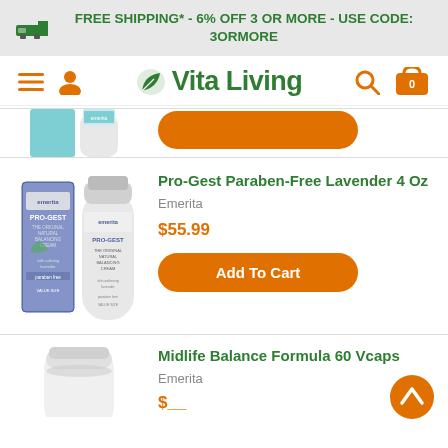FREE SHIPPING* - 6% OFF 3 OR MORE - USE CODE: 3ORMORE
[Figure (logo): Vita Living website navigation bar with hamburger menu, user icon, Vita Living logo with leaf, search icon, and cart icon]
[Figure (photo): Partial product image - emerita cream tube and box, partially visible at top]
[Figure (photo): Pro-Gest Paraben-Free Lavender 4 Oz product - Emerita PRO-GEST cream box and tube]
Pro-Gest Paraben-Free Lavender 4 Oz
Emerita
$55.99
Add To Cart
[Figure (photo): Midlife Balance Formula 60 Vcaps product - white supplement bottle, partially visible]
Midlife Balance Formula 60 Vcaps
Emerita